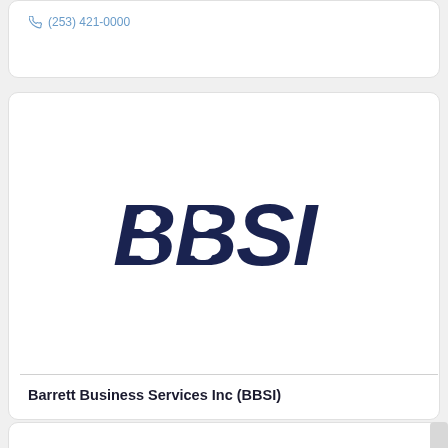(253) 421-0000
[Figure (logo): BBSI logo — bold dark navy italic letters spelling BBSI]
Barrett Business Services Inc (BBSI)
4507 Pacific Hwy E Ste B, Fife, WA 98424
(253) 441-2130